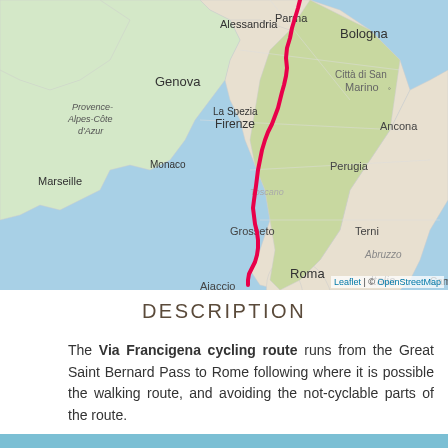[Figure (map): Map showing the Via Francigena cycling route from Great Saint Bernard Pass to Rome (Italy). The route is drawn as a thick pink/red line running north to south through Italy, passing through Parma, Firenze, Grosseto, Terni, and ending at Roma. Map shows surrounding geography including Marseille, Monaco, Genova, Alessandria, Bologna, Città di San Marino, Ancona, Perugia, Terni, Abruzzo, Ajaccio, and the Mediterranean Sea with Corsica island. Attribution: Leaflet | © OpenStreetMap.]
DESCRIPTION
The Via Francigena cycling route runs from the Great Saint Bernard Pass to Rome following where it is possible the walking route, and avoiding the not-cyclable parts of the route.